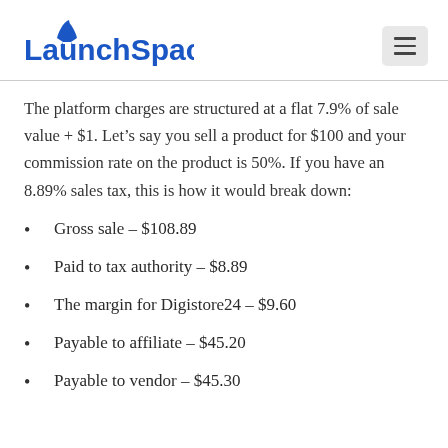LaunchSpace
The platform charges are structured at a flat 7.9% of sale value + $1. Let’s say you sell a product for $100 and your commission rate on the product is 50%. If you have an 8.89% sales tax, this is how it would break down:
Gross sale – $108.89
Paid to tax authority – $8.89
The margin for Digistore24 – $9.60
Payable to affiliate – $45.20
Payable to vendor – $45.30